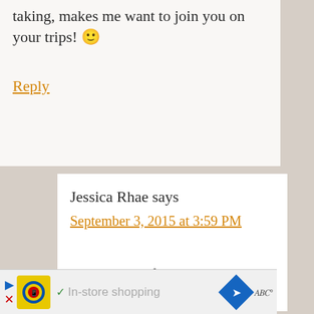taking, makes me want to join you on your trips! 🙂
Reply
Jessica Rhae says
September 3, 2015 at 3:59 PM
Thanks. It is fairly easy to get great pictures when the areas you visit are so beautiful. I am trying to get better at photos and photo